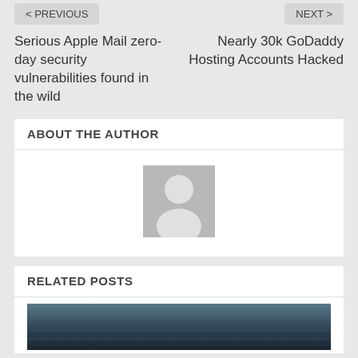< PREVIOUS
NEXT >
Serious Apple Mail zero-day security vulnerabilities found in the wild
Nearly 30k GoDaddy Hosting Accounts Hacked
ABOUT THE AUTHOR
[Figure (photo): Default author avatar placeholder — grey square with a white silhouette of a person (head and shoulders)]
RELATED POSTS
[Figure (photo): Partial image of a dark blue-grey seascape or ocean scene, shown at the bottom of the page]